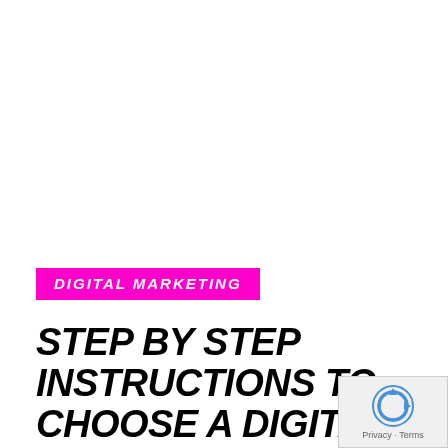DIGITAL MARKETING
STEP BY STEP INSTRUCTIONS TO CHOOSE A DIGITAL MARKETING AGENCY
[Figure (logo): reCAPTCHA badge with rotating arrows icon and Privacy · Terms text]